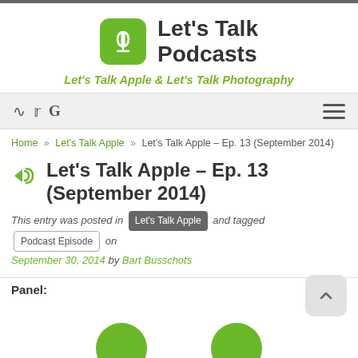[Figure (logo): Let's Talk Podcasts logo with green rounded rectangle microphone icon and bold dark text 'Let's Talk Podcasts']
Let's Talk Podcasts
Let's Talk Apple & Let's Talk Photography
[Figure (other): Navigation bar with RSS, Twitter, Google icons on left and hamburger menu on right]
Home » Let's Talk Apple » Let's Talk Apple – Ep. 13 (September 2014)
Let's Talk Apple – Ep. 13 (September 2014)
This entry was posted in Let's Talk Apple and tagged Podcast Episode on September 30, 2014 by Bart Busschots
Panel: